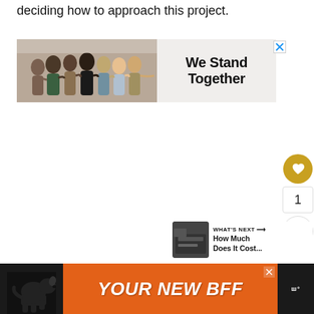deciding how to approach this project.
[Figure (photo): Ad banner showing a group of people with arms around each other, seen from behind, with text 'We Stand Together' on the right side and a close button (X) in top right corner.]
[Figure (other): Sidebar UI: gold heart/like button, count '1', and a share button (circle with arrows).]
[Figure (other): Thumbnail image of a room interior, dark tones.]
WHAT'S NEXT → How Much Does It Cost...
[Figure (photo): Bottom ad banner: dark background with a dog silhouette on the left, orange background with italic text 'YOUR NEW BFF', close button, and a logo on the right end.]